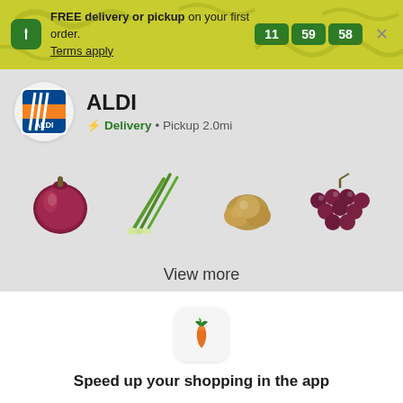FREE delivery or pickup on your first order. Terms apply
11 : 59 : 58
ALDI
Delivery • Pickup 2.0mi
[Figure (photo): Four grocery product images: red onion, green onions/scallions, garlic bulbs, and red/purple grapes]
View more
[Figure (logo): Instacart carrot app icon]
Speed up your shopping in the app
Continue in app
Continue in browser